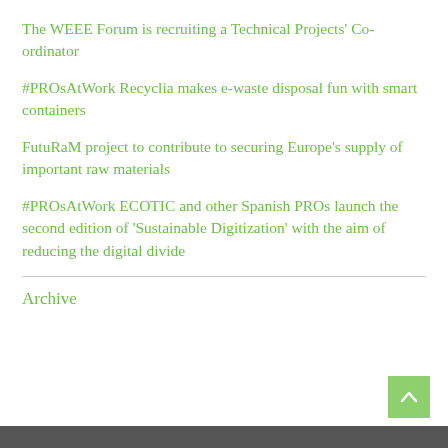The WEEE Forum is recruiting a Technical Projects' Co-ordinator
#PROsAtWork Recyclia makes e-waste disposal fun with smart containers
FutuRaM project to contribute to securing Europe's supply of important raw materials
#PROsAtWork ECOTIC and other Spanish PROs launch the second edition of 'Sustainable Digitization' with the aim of reducing the digital divide
Archive